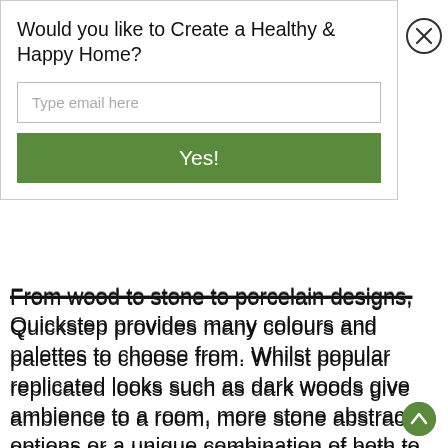Would you like to Create a Healthy & Happy Home?
Type email here
Yes!
From wood to stone to porcelain designs, Quickstep provides many colours and palettes to choose from. Whilst popular replicated looks such as dark woods give ambience to a room, more stone abstract options or a unique combination of both to connect or separate spaces within the home offer an incredible vibe. Bathrooms and kitchens are targets for stone look vinyl whilst living rooms, conservatories and hobby rooms aim towards the wooden style.
When...